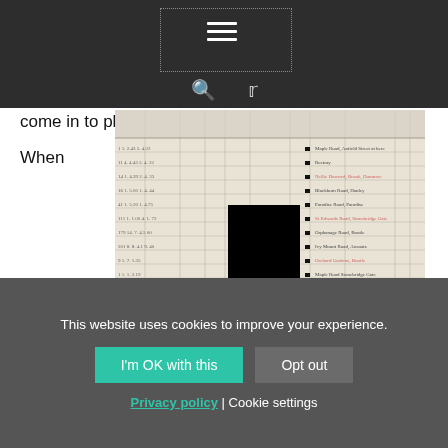Navigation header with hamburger menu, search icon, and Twitter icon
come in to play.
When
[Figure (photo): Example of a disease register page, redacted with black rectangles covering identifying information. The register shows handwritten columns of patient data.]
Example of disease register (redacted)
This website uses cookies to improve your experience.
I'm OK with this | Opt out
Privacy policy | Cookie settings